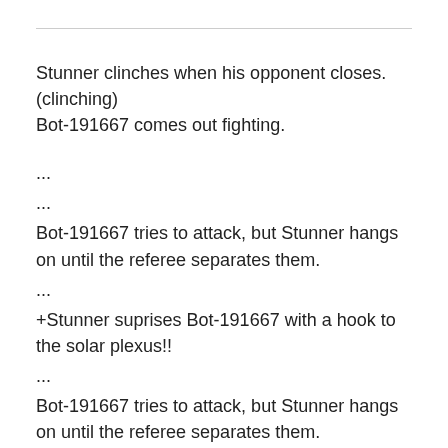Stunner clinches when his opponent closes. (clinching) Bot-191667 comes out fighting.
...
...
Bot-191667 tries to attack, but Stunner hangs on until the referee separates them.
...
+Stunner suprises Bot-191667 with a hook to the solar plexus!!
...
Bot-191667 tries to attack, but Stunner hangs on until the referee separates them.
...
+Bot-191667 lands a pair of loud blows to the stomach.